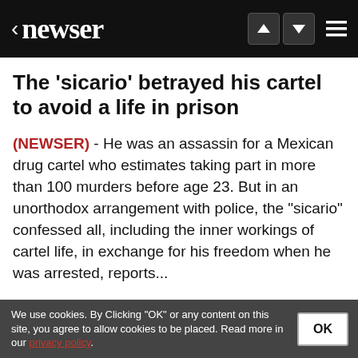< newser
The 'sicario' betrayed his cartel to avoid a life in prison
(NEWSER) - He was an assassin for a Mexican drug cartel who estimates taking part in more than 100 murders before age 23. But in an unorthodox arrangement with police, the "sicario" confessed all, including the inner workings of cartel life, in exchange for his freedom when he was arrested, reports...
We use cookies. By Clicking "OK" or any content on this site, you agree to allow cookies to be placed. Read more in our privacy policy.